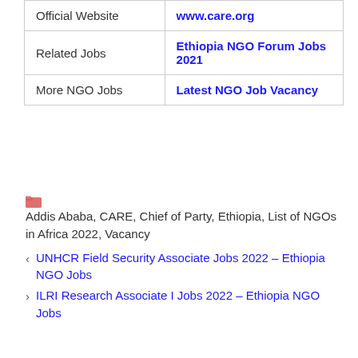| Official Website | www.care.org |
| Related Jobs | Ethiopia NGO Forum Jobs 2021 |
| More NGO Jobs | Latest NGO Job Vacancy |
Addis Ababa, CARE, Chief of Party, Ethiopia, List of NGOs in Africa 2022, Vacancy
UNHCR Field Security Associate Jobs 2022 – Ethiopia NGO Jobs
ILRI Research Associate I Jobs 2022 – Ethiopia NGO Jobs